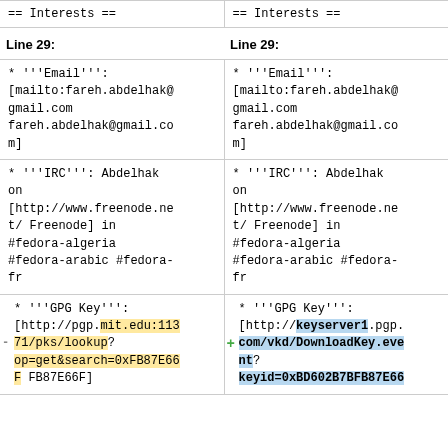| == Interests == | == Interests == |
| --- | --- |
| Line 29: | Line 29: |
| * '''Email''': [mailto:fareh.abdelhak@gmail.com fareh.abdelhak@gmail.com] | * '''Email''': [mailto:fareh.abdelhak@gmail.com fareh.abdelhak@gmail.com] |
| * '''IRC''': Abdelhak on [http://www.freenode.net/ Freenode] in #fedora-algeria #fedora-arabic #fedora-fr | * '''IRC''': Abdelhak on [http://www.freenode.net/ Freenode] in #fedora-algeria #fedora-arabic #fedora-fr |
| * '''GPG Key''': [http://pgp.mit.edu:11371/pks/lookup?op=get&search=0xFB87E66F FB87E66F] | * '''GPG Key''': [http://keyserver1.pgp.com/vkd/DownloadKey.eve nt? keyid=0xBD602B7BFB87E66 |